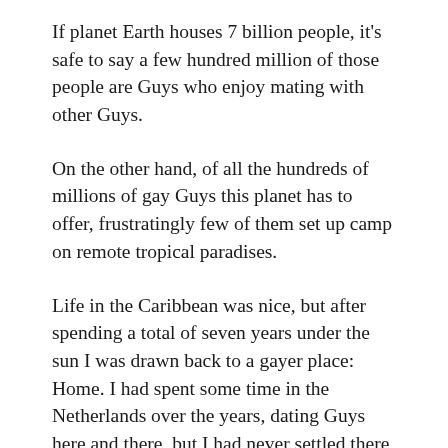If planet Earth houses 7 billion people, it's safe to say a few hundred million of those people are Guys who enjoy mating with other Guys.
On the other hand, of all the hundreds of millions of gay Guys this planet has to offer, frustratingly few of them set up camp on remote tropical paradises.
Life in the Caribbean was nice, but after spending a total of seven years under the sun I was drawn back to a gayer place: Home. I had spent some time in the Netherlands over the years, dating Guys here and there, but I had never settled there as a gay person. The last time I truly lived in my home country had been